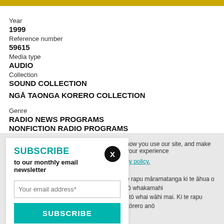Year
1999
Reference number
59615
Media type
AUDIO
Collection
SOUND COLLECTION
NGĀ TAONGA KORERO COLLECTION
Genre
RADIO NEWS PROGRAMS
NONFICTION RADIO PROGRAMS
SUBSCRIBE
to our monthly email newsletter
Your email address*
SUBSCRIBE
View previous newsletters.
how you use our site, and make your experience
cy policy.
e rapu māramatanga ki te āhua o tō whakamahi
i tō whai wāhi mai. Ki te rapu kōrero anō